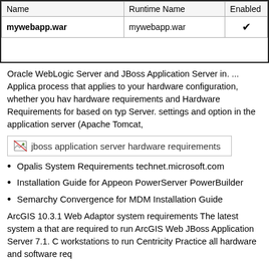| Name | Runtime Name | Enabled |
| --- | --- | --- |
| mywebapp.war | mywebapp.war | ✔ |
Oracle WebLogic Server and JBoss Application Server in. ... Applica process that applies to your hardware configuration, whether you hav hardware requirements and Hardware Requirements for based on typ Server. settings and option in the application server (Apache Tomcat,
[Figure (screenshot): jboss application server hardware requirements - image placeholder with broken image icon]
Opalis System Requirements technet.microsoft.com
Installation Guide for Appeon PowerServer PowerBuilder
Semarchy Convergence for MDM Installation Guide
ArcGIS 10.3.1 Web Adaptor system requirements The latest system a that are required to run ArcGIS Web JBoss Application Server 7.1. C workstations to run Centricity Practice all hardware and software req